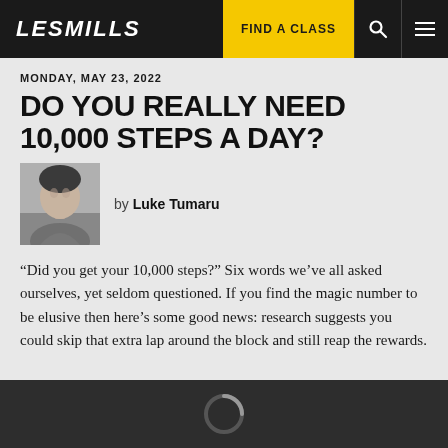LES MILLS | FIND A CLASS
MONDAY, MAY 23, 2022
DO YOU REALLY NEED 10,000 STEPS A DAY?
by Luke Tumaru
“Did you get your 10,000 steps?” Six words we’ve all asked ourselves, yet seldom questioned. If you find the magic number to be elusive then here’s some good news: research suggests you could skip that extra lap around the block and still reap the rewards.
[Figure (other): Loading spinner partially visible at bottom of dark section]